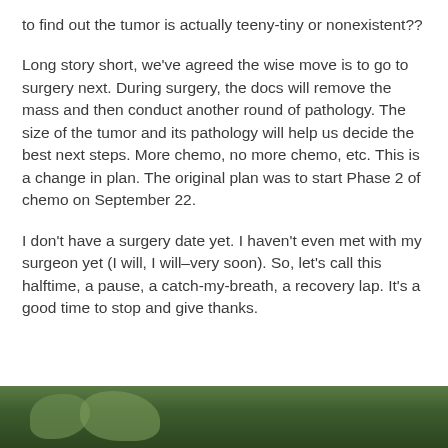to find out the tumor is actually teeny-tiny or nonexistent??
Long story short, we've agreed the wise move is to go to surgery next. During surgery, the docs will remove the mass and then conduct another round of pathology. The size of the tumor and its pathology will help us decide the best next steps. More chemo, no more chemo, etc. This is a change in plan. The original plan was to start Phase 2 of chemo on September 22.
I don't have a surgery date yet. I haven't even met with my surgeon yet (I will, I will–very soon). So, let's call this halftime, a pause, a catch-my-breath, a recovery lap. It's a good time to stop and give thanks.
[Figure (photo): Partial view of a nature/outdoor photo showing green foliage and trees, cropped at the bottom of the page]